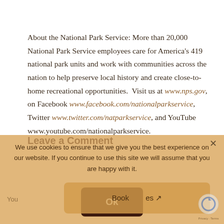About the National Park Service: More than 20,000 National Park Service employees care for America's 419 national park units and work with communities across the nation to help preserve local history and create close-to-home recreational opportunities.  Visit us at www.nps.gov, on Facebook www.facebook.com/nationalparkservice, Twitter www.twitter.com/natparkservice, and YouTube www.youtube.com/nationalparkservice.
Leave a Comment
We use cookies to ensure that we give you the best experience on our website. If you continue to use this site we will assume that you are happy with it.